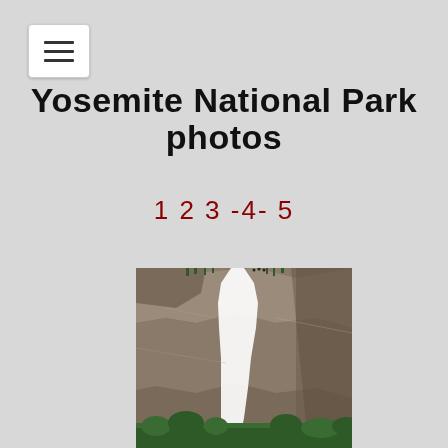[Figure (screenshot): Hamburger menu button icon (three horizontal lines) on white rounded rectangle background]
Yosemite National Park photos
1 2 3 -4- 5
[Figure (photo): Photograph of Yosemite Falls cascading down a tall granite cliff face against a blue sky, with green trees at the base]